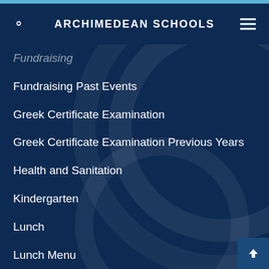ARCHIMEDEAN SCHOOLS
Fundraising
Fundraising Past Events
Greek Certificate Examination
Greek Certificate Examination Previous Years
Health and Sanitation
Kindergarten
Lunch
Lunch Menu
Lunch Program
MIsc
Pre-K
Pre-K Faculty
Pre-K News